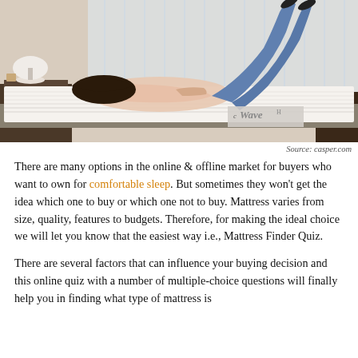[Figure (photo): Woman lying on a white mattress in a bedroom setting with a lamp and window in the background. The mattress has a 'Wave H' label visible.]
Source: casper.com
There are many options in the online & offline market for buyers who want to own for comfortable sleep. But sometimes they won't get the idea which one to buy or which one not to buy. Mattress varies from size, quality, features to budgets. Therefore, for making the ideal choice we will let you know that the easiest way i.e., Mattress Finder Quiz.
There are several factors that can influence your buying decision and this online quiz with a number of multiple-choice questions will finally help you in finding what type of mattress is